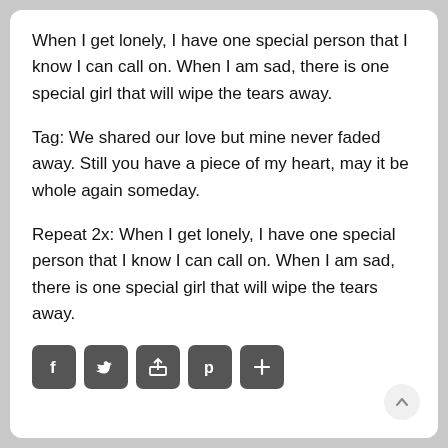When I get lonely, I have one special person that I know I can call on. When I am sad, there is one special girl that will wipe the tears away.
Tag: We shared our love but mine never faded away. Still you have a piece of my heart, may it be whole again someday.
Repeat 2x: When I get lonely, I have one special person that I know I can call on. When I am sad, there is one special girl that will wipe the tears away.
[Figure (infographic): Social sharing buttons: Facebook (f), Twitter (bird), share icon, Pinterest (p), plus (+)]